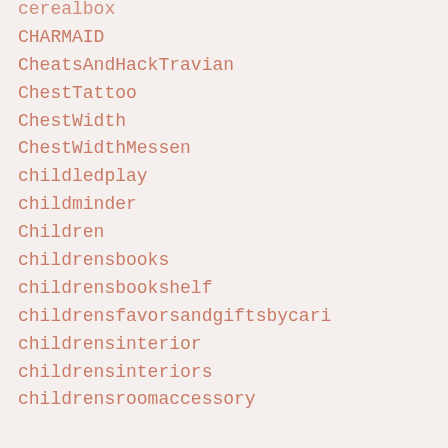cerealbox
CHARMAID
CheatsAndHackTravian
ChestTattoo
ChestWidth
ChestWidthMessen
childledplay
childminder
Children
childrensbooks
childrensbookshelf
childrensfavorsandgiftsbycari
childrensinterior
childrensinteriors
childrensroomaccessory